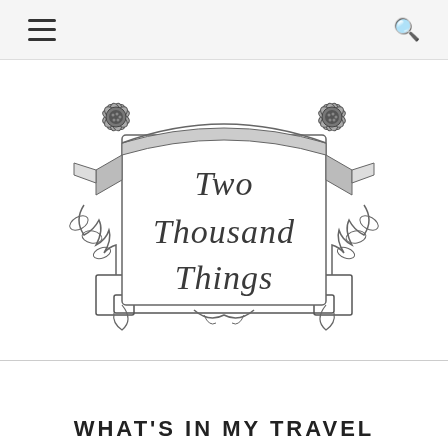[hamburger menu] [search icon]
[Figure (logo): Two Thousand Things decorative logo with ornate frame featuring sunflowers, scrollwork, ribbons, and cursive text reading 'Two Thousand Things']
WHAT'S IN MY TRAVEL